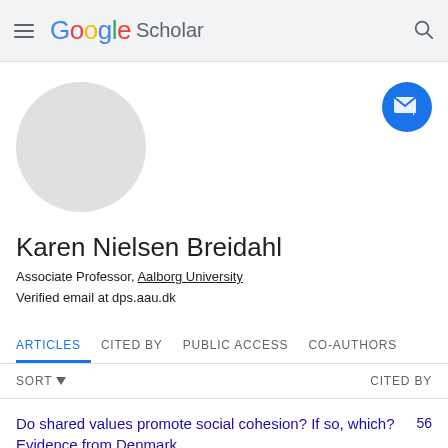Google Scholar
[Figure (illustration): Circular grey avatar placeholder photo]
Karen Nielsen Breidahl
Associate Professor, Aalborg University
Verified email at dps.aau.dk
ARTICLES  CITED BY  PUBLIC ACCESS  CO-AUTHORS
SORT  CITED BY
Do shared values promote social cohesion? If so, which? Evidence from Denmark
KN Breidahl, N Holtug, K Kongshøj
56